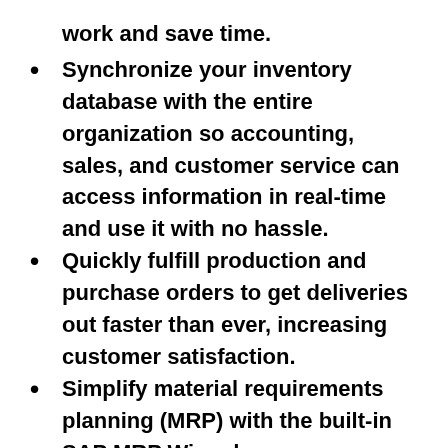work and save time.
Synchronize your inventory database with the entire organization so accounting, sales, and customer service can access information in real-time and use it with no hassle.
Quickly fulfill production and purchase orders to get deliveries out faster than ever, increasing customer satisfaction.
Simplify material requirements planning (MRP) with the built-in SAP MRP Wizard.
Eliminate inventory errors and